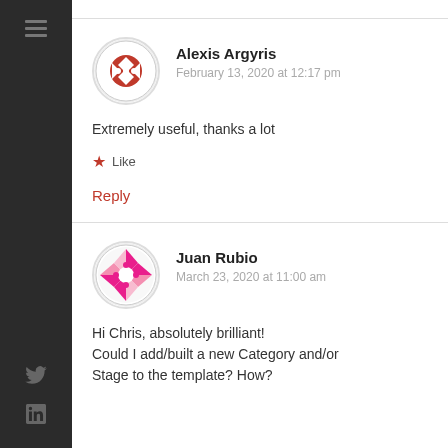Alexis Argyris
February 13, 2020 at 12:17 pm
Extremely useful, thanks a lot
Like
Reply
Juan Rubio
March 23, 2020 at 11:00 am
Hi Chris, absolutely brilliant! Could I add/built a new Category and/or Stage to the template? How?